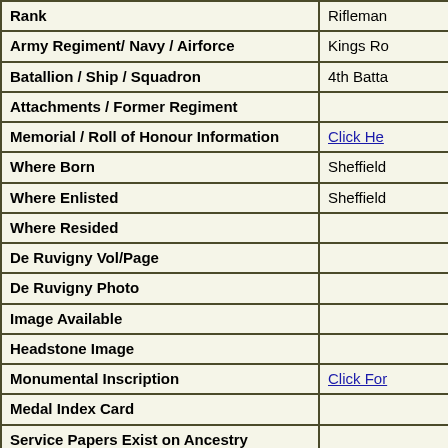| Field | Value |
| --- | --- |
| Rank | Rifleman |
| Army Regiment/ Navy / Airforce | Kings Ro… |
| Batallion / Ship / Squadron | 4th Batta… |
| Attachments / Former Regiment |  |
| Memorial / Roll of Honour Information | Click He… |
| Where Born | Sheffield |
| Where Enlisted | Sheffield |
| Where Resided |  |
| De Ruvigny Vol/Page |  |
| De Ruvigny Photo |  |
| Image Available |  |
| Headstone Image |  |
| Monumental Inscription | Click For… |
| Medal Index Card |  |
| Service Papers Exist on Ancestry |  |
| CWGC Additional Information |  |
| CWGC Grave / Memorial | Menin G… |
| Prisoner of War |  |
| Newspaper Clipping Date |  |
| Further Information | Probably… |